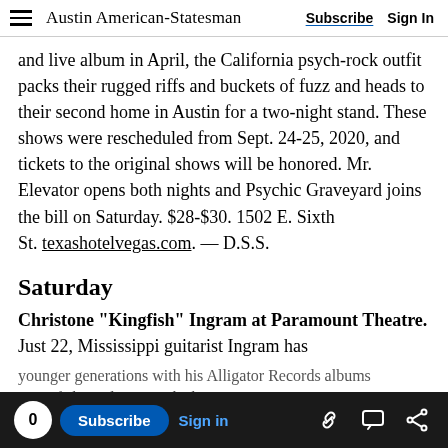Austin American-Statesman | Subscribe | Sign In
and live album in April, the California psych-rock outfit packs their rugged riffs and buckets of fuzz and heads to their second home in Austin for a two-night stand. These shows were rescheduled from Sept. 24-25, 2020, and tickets to the original shows will be honored. Mr. Elevator opens both nights and Psychic Graveyard joins the bill on Saturday. $28-$30. 1502 E. Sixth St. texashotelvegas.com. — D.S.S.
Saturday
Christone “Kingfish” Ingram at Paramount Theatre. Just 22, Mississippi guitarist Ingram has
younger generations with his Alligator Records albums “Kingfish” and “662.” The better...